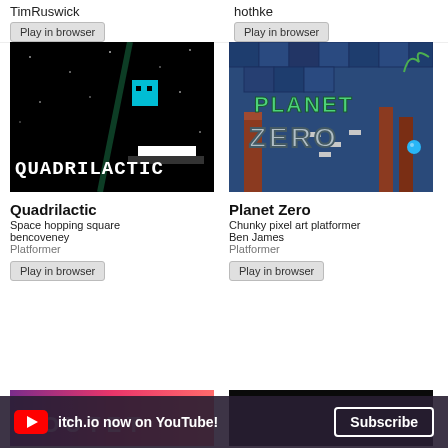TimRuswick
hothke
[Figure (screenshot): Quadrilactic game screenshot: black background with teal square character and pixel text 'QUADRILACTIC']
Quadrilactic
Space hopping square
bencoveney
Platformer
Play in browser
[Figure (screenshot): Planet Zero game screenshot: blue pixel art platformer with 'PLANET ZERO' title overlay]
Planet Zero
Chunky pixel art platformer
Ben James
Platformer
Play in browser
[Figure (screenshot): Game thumbnail with pink/purple gradient and 'OUTET' text partially visible]
[Figure (screenshot): Dark game thumbnail, mostly black]
itch.io now on YouTube!
Subscribe